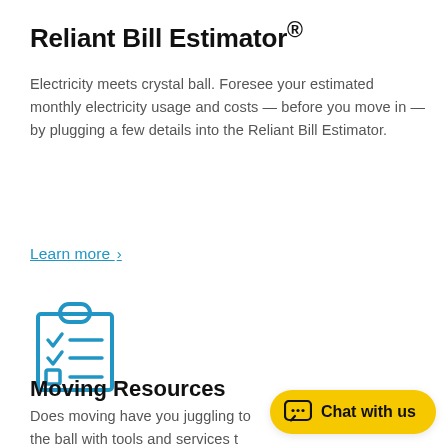Reliant Bill Estimator®
Electricity meets crystal ball. Foresee your estimated monthly electricity usage and costs — before you move in — by plugging a few details into the Reliant Bill Estimator.
Learn more ›
[Figure (illustration): Blue outline icon of a clipboard with a handle/clip at top, containing three checklist rows: two checkmarks with horizontal lines and one square checkbox with a horizontal line.]
Moving Resources
Does moving have you juggling to the ball with tools and services to into your new place — and managing your energy